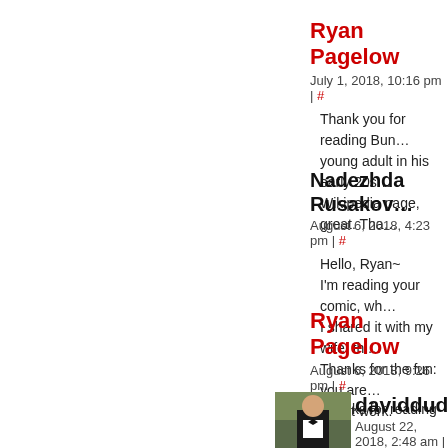Ryan Pagelow
July 1, 2018, 10:16 pm | #
Thank you for reading Bun… young adult in his early 20s… Wikipedia page, great. Tha…
Nadezhda Rusakov…
August 6, 2018, 4:23 pm | #
Hello, Ryan~
I'm reading your comic, wh…
I shared it with my wife, thi…
Thanks for the fun: you are…
Great work.
Ryan Pagelow
August 6, 2018, 9:26 pm | #
Thanks for reading Buni!
[Figure (photo): Avatar photo of daviddude — a young man in a tuxedo outdoors]
daviddude
August 22, 2018, 2:48 am | #
Hi Ryan,
I remember commenting o…